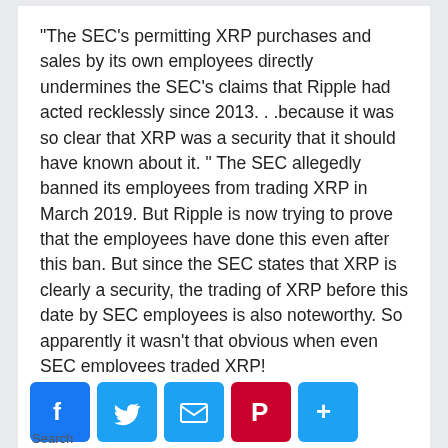“The SEC’s permitting XRP purchases and sales by its own employees directly undermines the SEC’s claims that Ripple had acted recklessly since 2013. . .because it was so clear that XRP was a security that it should have known about it. ” The SEC allegedly banned its employees from trading XRP in March 2019. But Ripple is now trying to prove that the employees have done this even after this ban. But since the SEC states that XRP is clearly a security, the trading of XRP before this date by SEC employees is also noteworthy. So apparently it wasn’t that obvious when even SEC employees traded XRP!
[Figure (other): Social sharing buttons: Facebook, Twitter, Email, Pinterest, More]